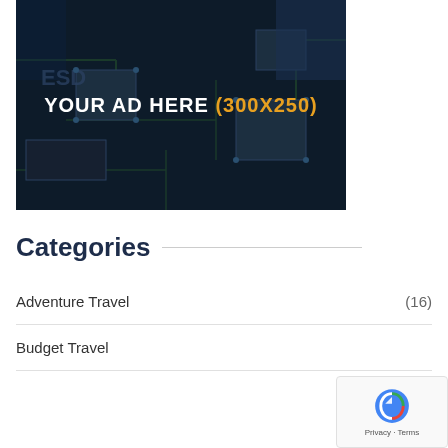[Figure (other): Advertisement placeholder image showing a dark circuit board background with text 'YOUR AD HERE (300X250)' in white and orange text]
Categories
Adventure Travel (16)
Budget Travel